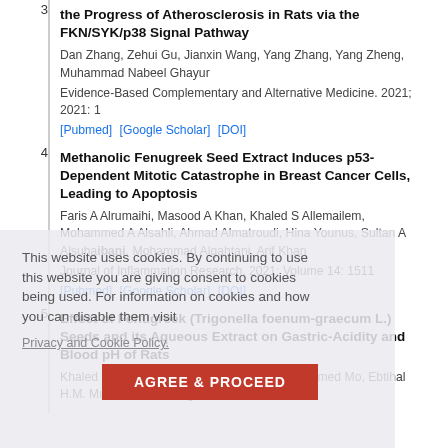3. the Progress of Atherosclerosis in Rats via the FKN/SYK/p38 Signal Pathway. Dan Zhang, Zehui Gu, Jianxin Wang, Yang Zhang, Yang Zheng, Muhammad Nabeel Ghayur. Evidence-Based Complementary and Alternative Medicine. 2021; 2021: 1. [Pubmed] [Google Scholar] [DOI]
4. Methanolic Fenugreek Seed Extract Induces p53-Dependent Mitotic Catastrophe in Breast Cancer Cells, Leading to Apoptosis. Faris A Alrumaihi, Masood A Khan, Khaled S Allemailem, Mohammed A Alsahli, Ahmad Almatroudi, Hina Younus, Sultan A Alsuhaibani, Mohammad Algahtani, Arif Khan. Journal of Inflammation Research. 2021; Volume 14: 1511. [Pubmed] [Google Scholar] [DOI]
5. Effect of Fenugreek (Trigonella foenum-graecum L.) Seeds and its Aqueous Extract on Gastric-Acidity and Blood pH of Rats. Khaled Meghawry E, Ahmed Abdel-Zaher Mohamed Mo, Ebtihal H.M. Musa, Hassan Mirghani M
This website uses cookies. By continuing to use this website you are giving consent to cookies being used. For information on cookies and how you can disable them visit Privacy and Cookie Policy.